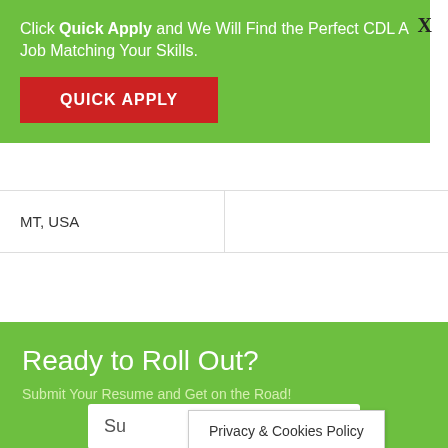Click Quick Apply and We Will Find the Perfect CDL A Job Matching Your Skills.
QUICK APPLY
X
| MT, USA |  |
Ready to Roll Out?
Submit Your Resume and Get on the Road!
Su
Privacy & Cookies Policy